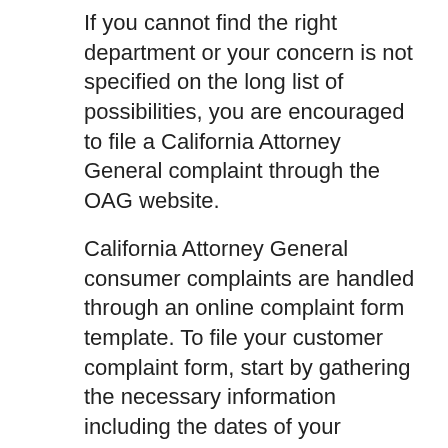If you cannot find the right department or your concern is not specified on the long list of possibilities, you are encouraged to file a California Attorney General complaint through the OAG website.
California Attorney General consumer complaints are handled through an online complaint form template. To file your customer complaint form, start by gathering the necessary information including the dates of your transactions, the dollar amounts, the name and contact information for the company, and any advertising or relevant documents.
Then, completely answer the questions on the complaint form template available on the California State Attorney General complaint site. The form has simple fill-in-the-blank spaces for your answers. There is not an area to attach your files, but there is